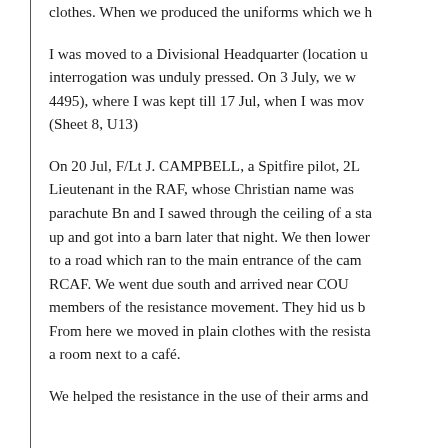clothes. When we produced the uniforms which we h
I was moved to a Divisional Headquarter (location u interrogation was unduly pressed. On 3 July, we w 4495), where I was kept till 17 Jul, when I was mov (Sheet 8, U13)
On 20 Jul, F/Lt J. CAMPBELL, a Spitfire pilot, 2L Lieutenant in the RAF, whose Christian name was parachute Bn and I sawed through the ceiling of a sta up and got into a barn later that night. We then lower to a road which ran to the main entrance of the cam RCAF. We went due south and arrived near COU members of the resistance movement. They hid us b From here we moved in plain clothes with the rista a room next to a café.
We helped the resistance in the use of their arms and